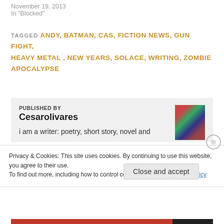November 19, 2013
In "Blocked"
TAGGED ANDY, BATMAN, CAS, FICTION NEWS, GUN FIGHT, HEAVY METAL, NEW YEARS, SOLACE, WRITING, ZOMBIE APOCALYPSE
PUBLISHED BY
Cesarolivares
i am a writer: poetry, short story, novel and
Privacy & Cookies: This site uses cookies. By continuing to use this website, you agree to their use.
To find out more, including how to control cookies, see here: Cookie Policy
Close and accept